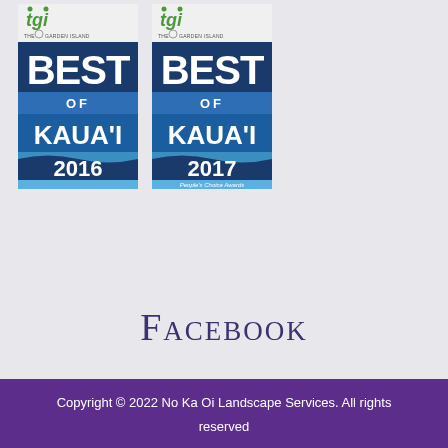[Figure (logo): TGI The Garden Island Best of Kauai 2016 People's Choice Awards First Place badge]
[Figure (logo): TGI The Garden Island Best of Kauai 2017 People's Choice Awards First Place badge]
Facebook
Copyright © 2022 No Ka Oi Landscape Services. All rights reserved